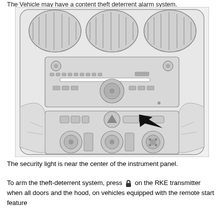The Vehicle may have a content theft deterrent alarm system.
[Figure (illustration): Line drawing of a vehicle center console/instrument panel showing the radio/audio unit in the upper section with various knobs and buttons, and below it a second panel with control buttons and a large knob. A bold black arrow points to a security light indicator button near the center of the lower panel.]
The security light is near the center of the instrument panel.
To arm the theft-deterrent system, press [lock icon] on the RKE transmitter when all doors and the hood, on vehicles equipped with the remote start feature